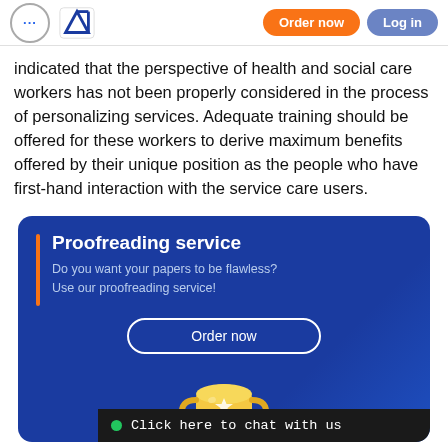... [logo] Order now  Log in
indicated that the perspective of health and social care workers has not been properly considered in the process of personalizing services. Adequate training should be offered for these workers to derive maximum benefits offered by their unique position as the people who have first-hand interaction with the service care users.
[Figure (infographic): Proofreading service promotional card with orange vertical bar, bold white title 'Proofreading service', subtitle 'Do you want your papers to be flawless? Use our proofreading service!', an 'Order now' button, and a gold trophy illustration. A scroll-up button is to the right. A dark chat bar reads 'Click here to chat with us'.]